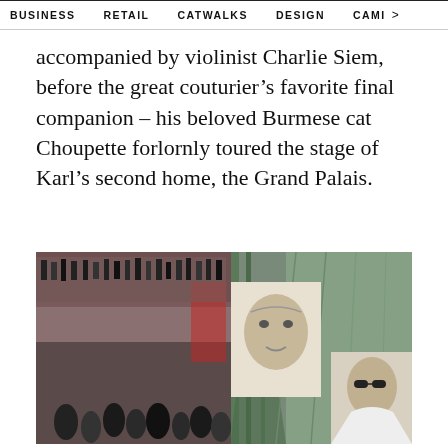BUSINESS   RETAIL   CATWALKS   DESIGN   CAMI >
accompanied by violinist Charlie Siem, before the great couturier’s favorite final companion – his beloved Burmese cat Choupette forlornly toured the stage of Karl’s second home, the Grand Palais.
[Figure (photo): Crowd of people gathered inside the Grand Palais in Paris, with large black-and-white portrait banners of Karl Lagerfeld and a younger man hanging from the ornate green iron and glass architecture. People are dressed formally, the atmosphere appears to be a tribute or memorial event.]